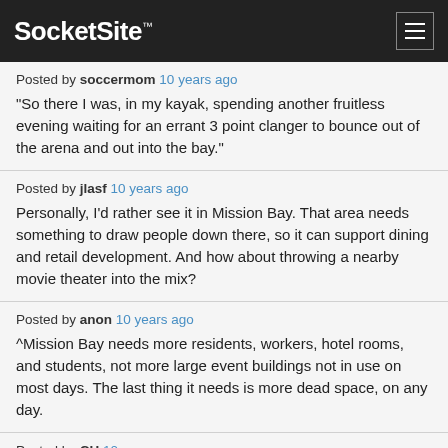SocketSite™
Posted by soccermom 10 years ago
“So there I was, in my kayak, spending another fruitless evening waiting for an errant 3 point clanger to bounce out of the arena and out into the bay.”
Posted by jlasf 10 years ago
Personally, I’d rather see it in Mission Bay. That area needs something to draw people down there, so it can support dining and retail development. And how about throwing a nearby movie theater into the mix?
Posted by anon 10 years ago
^Mission Bay needs more residents, workers, hotel rooms, and students, not more large event buildings not in use on most days. The last thing it needs is more dead space, on any day.
Posted by CH 10 years ago
“large event buildings not in use on most days”
The arena will be in use “most days”, over 200 days a year and